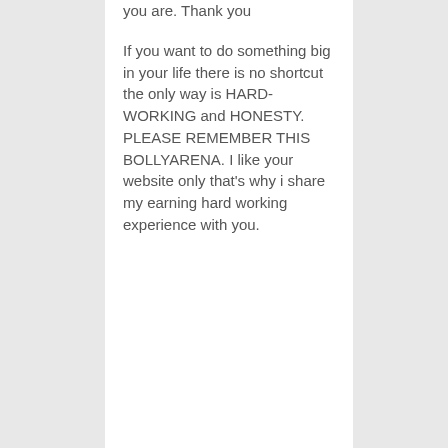you are. Thank you
If you want to do something big in your life there is no shortcut the only way is HARD-WORKING and HONESTY. PLEASE REMEMBER THIS BOLLYARENA. I like your website only that's why i share my earning hard working experience with you.